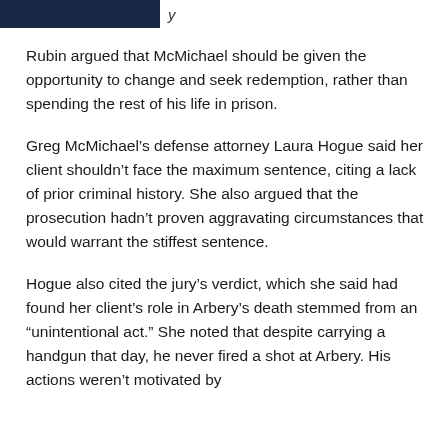Rubin argued that McMichael should be given the opportunity to change and seek redemption, rather than spending the rest of his life in prison.
Greg McMichael’s defense attorney Laura Hogue said her client shouldn’t face the maximum sentence, citing a lack of prior criminal history. She also argued that the prosecution hadn’t proven aggravating circumstances that would warrant the stiffest sentence.
Hogue also cited the jury’s verdict, which she said had found her client’s role in Arbery’s death stemmed from an “unintentional act.” She noted that despite carrying a handgun that day, he never fired a shot at Arbery. His actions weren’t motivated by